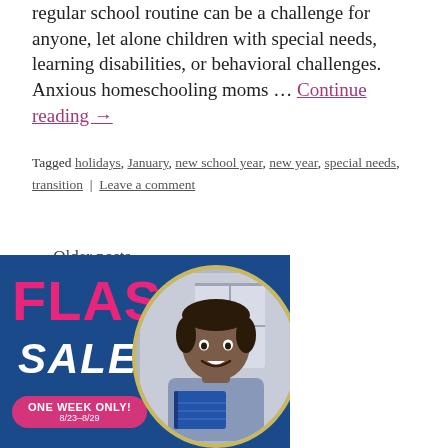regular school routine can be a challenge for anyone, let alone children with special needs, learning disabilities, or behavioral challenges. Anxious homeschooling moms … Continue reading →
Tagged holidays, January, new school year, new year, special needs, transition | Leave a comment
← Older posts
[Figure (illustration): Flash Sale promotional banner with blue background, large pink 'FLASH' text, white italic 'SALE' text, a pink pill-shaped button reading 'ONE WEEK ONLY! 8/23–8/29', and a circular photo of a smiling young Black boy holding a book, with a gold/yellow circular border.]